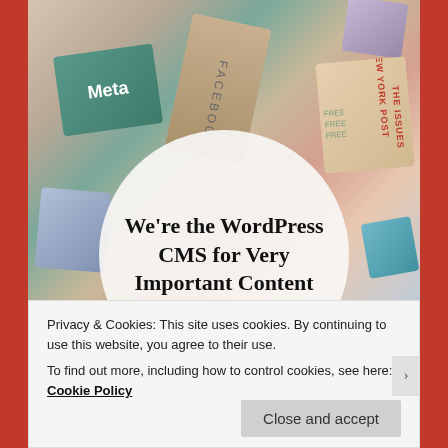[Figure (illustration): Collage of magazine and publication covers including Meta, Facebook, New York Post and others arranged in a circular layout. A large white semi-transparent circle overlays the center with bold text reading 'We're the WordPress CMS for Very Important Content'.]
We're the WordPress CMS for Very Important Content
Privacy & Cookies: This site uses cookies. By continuing to use this website, you agree to their use.
To find out more, including how to control cookies, see here: Cookie Policy
Close and accept